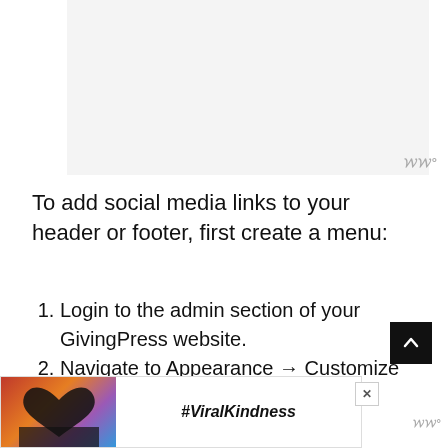[Figure (screenshot): Top advertisement banner placeholder, light gray background]
To add social media links to your header or footer, first create a menu:
Login to the admin section of your GivingPress website.
Navigate to Appearance → Customize → Menus
[Figure (photo): Bottom ad banner showing hands forming a heart shape against a colorful sky, with text #ViralKindness]